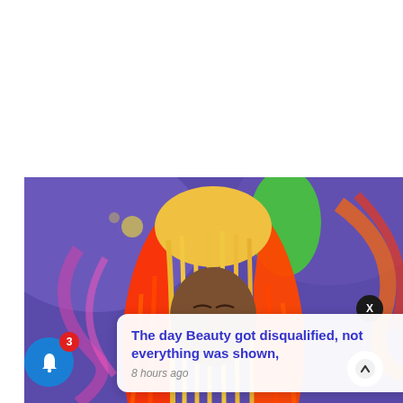[Figure (photo): A woman with long red-to-blonde ombre hair, eyes closed, in front of a colorful abstract background with purple, green, orange and red swirls]
The day Beauty got disqualified, not everything was shown,
8 hours ago